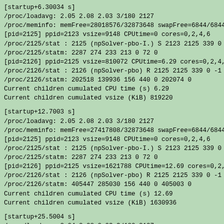[startup+6.30034 s]
/proc/loadavg: 2.05 2.08 2.03 3/180 2127
/proc/meminfo: memFree=28018576/32873648 swapFree=6844/6844
[pid=2125] ppid=2123 vsize=9148 CPUtime=0 cores=0,2,4,6
/proc/2125/stat : 2125 (npSolver-pbo-I.) S 2123 2125 339 0 -1
/proc/2125/statm: 2287 274 233 213 0 72 0
[pid=2126] ppid=2125 vsize=810072 CPUtime=6.29 cores=0,2,4,6
/proc/2126/stat : 2126 (npSolver-pbo) R 2125 2125 339 0 -1 42
/proc/2126/statm: 202518 139936 156 440 0 202074 0
Current children cumulated CPU time (s) 6.29
Current children cumulated vsize (KiB) 819220
[startup+12.7003 s]
/proc/loadavg: 2.05 2.08 2.03 3/180 2127
/proc/meminfo: memFree=27417808/32873648 swapFree=6844/6844
[pid=2125] ppid=2123 vsize=9148 CPUtime=0 cores=0,2,4,6
/proc/2125/stat : 2125 (npSolver-pbo-I.) S 2123 2125 339 0 -1
/proc/2125/statm: 2287 274 233 213 0 72 0
[pid=2126] ppid=2125 vsize=1621788 CPUtime=12.69 cores=0,2,4,
/proc/2126/stat : 2126 (npSolver-pbo) R 2125 2125 339 0 -1 42
/proc/2126/statm: 405447 285030 156 440 0 405003 0
Current children cumulated CPU time (s) 12.69
Current children cumulated vsize (KiB) 1630936
[startup+25.5004 s]
/proc/loadavg: 2.04 2.08 2.03 3/180 2127
/proc/meminfo: memFree=26184536/32873648 swapFree=6844/6844
[pid=2125] ppid=2123 vsize=9148 CPUtime=0 cores=0,2,4,6
/proc/2125/stat : 2125 (npSolver-pbo-I.) S 2123 2125 339 0 -1
/proc/2125/statm: 2287 274 233 213 0 72 0
[pid=2126] ppid=2125 vsize=3232884 CPUtime=25.48 cores=0,2,4,
/proc/2126/stat : 2126 (npSolver-pbo) R 2125 2125 339 0 -1 42